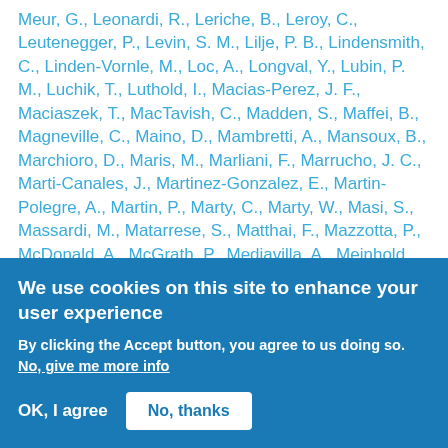Meur, G., Leonardi, R., Leriche, B., Leroy, C., Leutenegger, P., Levin, S. M., Lilje, P. B., Lindensmith, C., Linden-Vornle, M., Loc, A., Longval, Y., Lubin, P. M., Luchik, T., Luthold, I., Macias-Perez, J. F., Maciaszek, T., MacTavish, C., Madden, S., Maffei, B., Magneville, C., Maino, D., Mambretti, A., Mansoux, B., Marchioro, D., Maris, M., Marliani, F., Marrucho, J. C., Marti-Canales, J., Martinez-Gonzalez, E., Martin-Polegre, A., Martin, P., Marty, C., Marty, W., Masi, S., Massardi, M., Matarrese, S., Matthai, F., Mazzotta, P., McDonald, A., McGrath, P., Mediavilla, A., Meinhold, R., Melin, J. B., Melot, F., Mendes, L., Mennella, A.,
We use cookies on this site to enhance your user experience
By clicking the Accept button, you agree to us doing so.
No, give me more info
OK, I agree
No, thanks